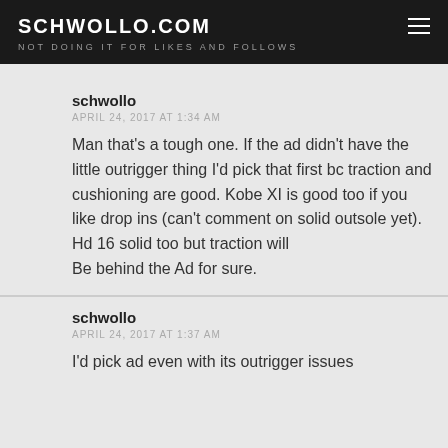SCHWOLLO.COM
NOT DOING IT FOR LIKES AND FOLLOWS
schwollo
APRIL 24, 2017 AT 1:34 AM
Man that's a tough one. If the ad didn't have the little outrigger thing I'd pick that first bc traction and cushioning are good. Kobe XI is good too if you like drop ins (can't comment on solid outsole yet). Hd 16 solid too but traction will Be behind the Ad for sure.
Like
schwollo
APRIL 24, 2017 AT 1:37 AM
I'd pick ad even with its outrigger issues